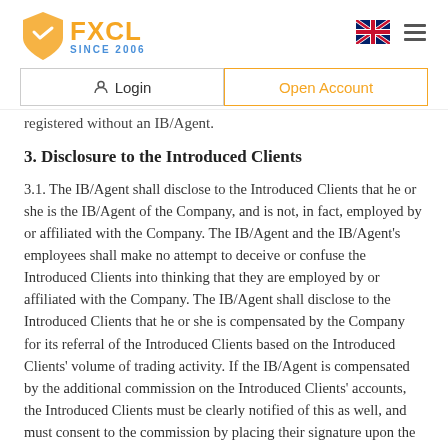FXCL SINCE 2006 | Login | Open Account
registered without an IB/Agent.
3. Disclosure to the Introduced Clients
3.1. The IB/Agent shall disclose to the Introduced Clients that he or she is the IB/Agent of the Company, and is not, in fact, employed by or affiliated with the Company. The IB/Agent and the IB/Agent's employees shall make no attempt to deceive or confuse the Introduced Clients into thinking that they are employed by or affiliated with the Company. The IB/Agent shall disclose to the Introduced Clients that he or she is compensated by the Company for its referral of the Introduced Clients based on the Introduced Clients' volume of trading activity. If the IB/Agent is compensated by the additional commission on the Introduced Clients' accounts, the Introduced Clients must be clearly notified of this as well, and must consent to the commission by placing their signature upon the Referral Addendum document describing such commission. The IB/Agent must also inform the Introduced Clients about the above matters personally and All of the